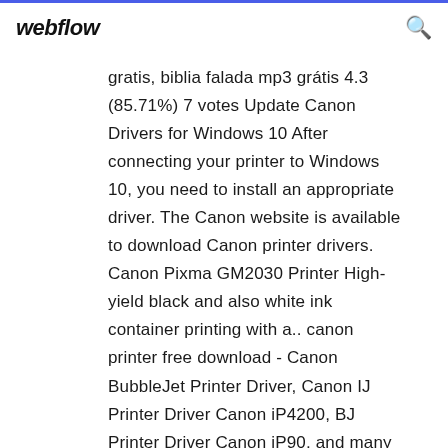webflow
gratis, biblia falada mp3 grátis 4.3 (85.71%) 7 votes Update Canon Drivers for Windows 10 After connecting your printer to Windows 10, you need to install an appropriate driver. The Canon website is available to download Canon printer drivers. Canon Pixma GM2030 Printer High-yield black and also white ink container printing with a.. canon printer free download - Canon BubbleJet Printer Driver, Canon IJ Printer Driver Canon iP4200, BJ Printer Driver Canon iP90, and many more... canon download raw images, sql navigator download for windows 7 Vermelde Recupel of Reprobel bijdrage is inclusief BTW. De prijzen zijn geldig van 01/05/2002 tot 31/10/02, onder voorbehoud